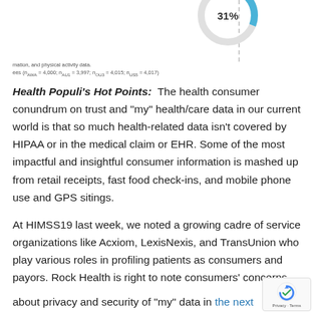[Figure (donut-chart): Partial donut chart showing 31% value, cropped at top of page]
mation, and physical activity data.
ees (nawa = 4,000; naus = 3,997; nous = 4,015; nuss = 4,017)
Health Populi’s Hot Points:  The health consumer conundrum on trust and “my” health/care data in our current world is that so much health-related data isn’t covered by HIPAA or in the medical claim or EHR. Some of the most impactful and insightful consumer information is mashed up from retail receipts, fast food check-ins, and mobile phone use and GPS sitings.
At HIMSS19 last week, we noted a growing cadre of service organizations like Acxiom, LexisNexis, and TransUnion who play various roles in profiling patients as consumers and payors. Rock Health is right to note consumers’ concerns about privacy and security of “my” data in the next